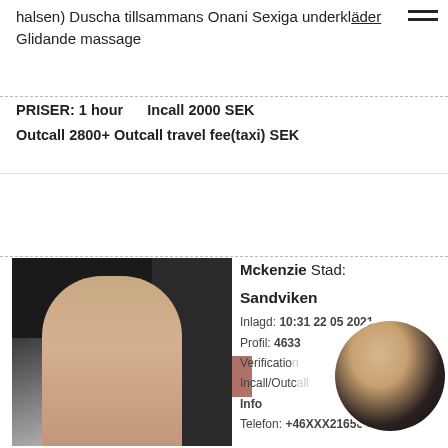halsen) Duscha tillsammans Onani Sexiga underkläder Glidande massage
PRISER: 1 hour   Incall 2000 SEK
Outcall 2800+ Outcall travel fee(taxi) SEK
Prioritetsannons
[Figure (photo): Main listing photo of person]
Mckenzie Stad: Sandviken
Inlagd: 10:31 22 05 2021
Profil: 4633...
Verification...
Incall/Outc...
Info
Telefon: +46XXX216565
[Figure (photo): Circular profile photo overlay]